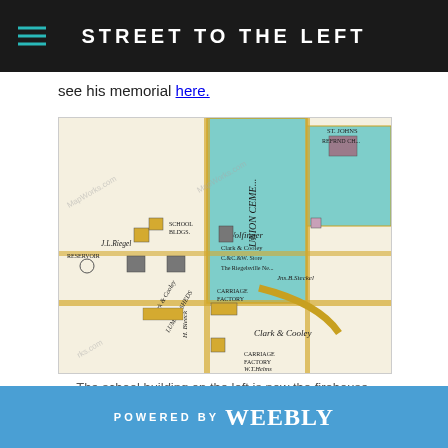STREET TO THE LEFT
see his memorial here.
[Figure (map): Historical town map showing Union Cemetery, St. Johns Reformed Church, J.L. Riegel, School Bldgs., Reservoir, Clark & Cooley, C.&C.&W. Store, The Riegelsville News, Carriage Factory, Clark & Cooley Lumber Sheds, H. Bleeck, Jns. B. Steckel, Carriage Factory W.T. Helms]
The school building on the left is now the firehouse.
POWERED BY weebly